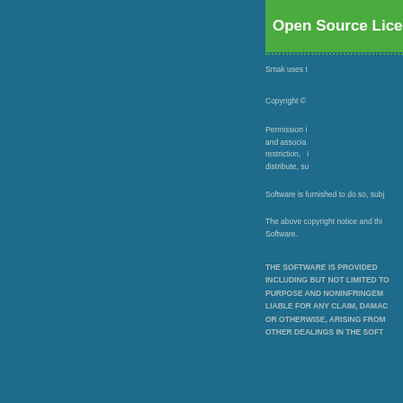Open Source License
[Figure (logo): Open source initiative logo — green circular icon with keyhole shape and 'open source' text below in black]
Smak uses t...
Copyright ©
Permission i... and associa... restriction, i... distribute, su... Software is furnished to do so, subj...
The above copyright notice and thi... Software.
THE SOFTWARE IS PROVIDED ... INCLUDING BUT NOT LIMITED TO... PURPOSE AND NONINFRINGEM... LIABLE FOR ANY CLAIM, DAMAC... OR OTHERWISE, ARISING FROM... OTHER DEALINGS IN THE SOFT...